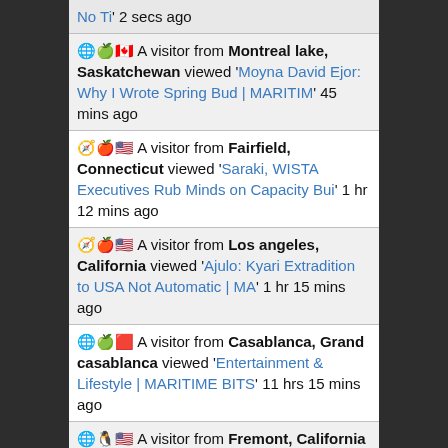No Ti' 2 secs ago
A visitor from Montreal lake, Saskatchewan viewed 'Moyna David Ejor: Why I Wrote Spring Bud | MARITIM' 45 mins ago
A visitor from Fairfield, Connecticut viewed 'Saraki, WISTA Executives Rub Minds on Capacity Bui' 1 hr 12 mins ago
A visitor from Los angeles, California viewed 'Ajulo: Kyari Extradition to USA Not Automatic | MA' 1 hr 15 mins ago
A visitor from Casablanca, Grand casablanca viewed 'Entertainment & Lifestyle | MARITIME BITS' 11 hrs 15 mins ago
A visitor from Fremont, California viewed 'Ihenacho, Usoro, Ogbeifun, Others for OMIS Award |' 11 hrs 47 mins ago
A visitor from Port harcourt, Rivers viewed 'MARITIME BITS | …News You Can Trust' 14 hrs 20 mins ago
A visitor from Nigeria viewed 'Ihenacho, Usoro, Ogbeifun, Others for OMIS Award |' 1 day 4 hrs ago
A visitor from Seattle, Washington viewed 'Boxing Match Ends Abruptly After Boxer Punches